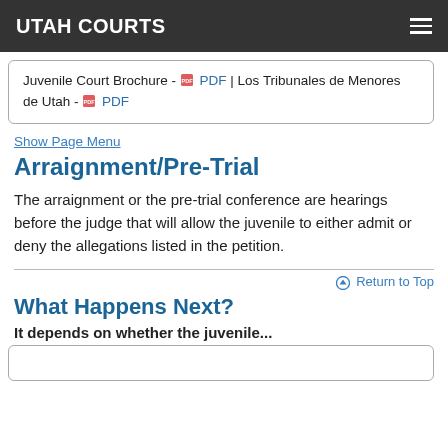UTAH COURTS
Juvenile Court Brochure - PDF | Los Tribunales de Menores de Utah - PDF
Show Page Menu
Arraignment/Pre-Trial
The arraignment or the pre-trial conference are hearings before the judge that will allow the juvenile to either admit or deny the allegations listed in the petition.
Return to Top
What Happens Next?
It depends on whether the juvenile...